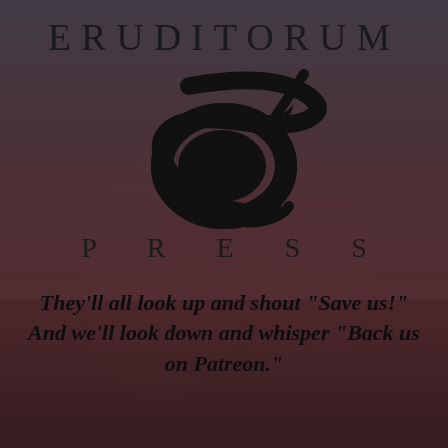[Figure (logo): Eruditorum Press logo: stylized EP letters in black with a swooping curve, above the word PRESS in spaced capitals. Background shows a faded dark reddish-brown photographic image.]
They'll all look up and shout “Save us!” And we'll look down and whisper “Back us on Patreon.”